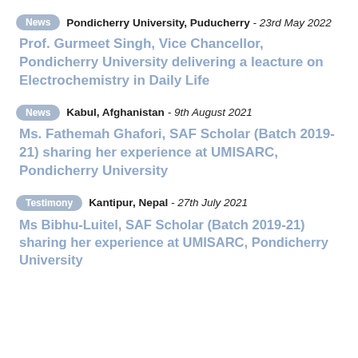News  Pondicherry University, Puducherry - 23rd May 2022
Prof. Gurmeet Singh, Vice Chancellor, Pondicherry University delivering a leacture on Electrochemistry in Daily Life
News  Kabul, Afghanistan - 9th August 2021
Ms. Fathemah Ghafori, SAF Scholar (Batch 2019-21) sharing her experience at UMISARC, Pondicherry University
Testimony  Kantipur, Nepal - 27th July 2021
Ms Bibhu-Luitel, SAF Scholar (Batch 2019-21) sharing her experience at UMISARC, Pondicherry University